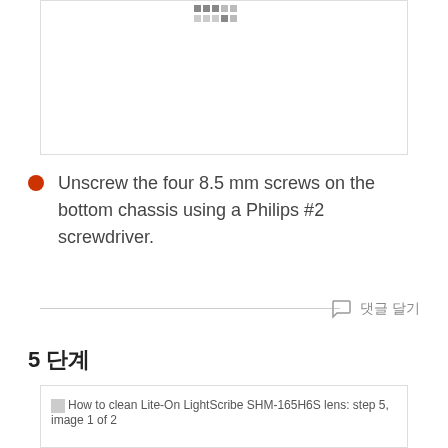[Figure (photo): Partial cropped image with a grid of small squares/dots visible at top center, white box with border]
Unscrew the four 8.5 mm screws on the bottom chassis using a Philips #2 screwdriver.
댓글 달기
5 단계
[Figure (photo): How to clean Lite-On LightScribe SHM-165H6S lens: step 5, image 1 of 2]